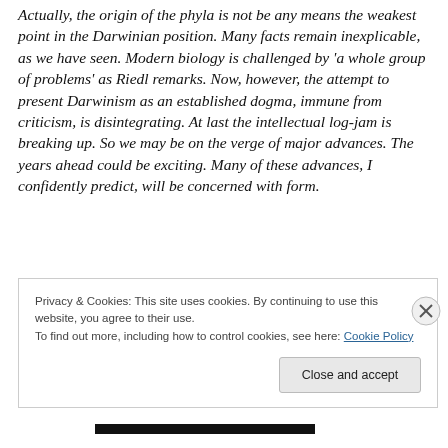Actually, the origin of the phyla is not be any means the weakest point in the Darwinian position. Many facts remain inexplicable, as we have seen. Modern biology is challenged by 'a whole group of problems' as Riedl remarks. Now, however, the attempt to present Darwinism as an established dogma, immune from criticism, is disintegrating. At last the intellectual log-jam is breaking up. So we may be on the verge of major advances. The years ahead could be exciting. Many of these advances, I confidently predict, will be concerned with form.
Privacy & Cookies: This site uses cookies. By continuing to use this website, you agree to their use.
To find out more, including how to control cookies, see here: Cookie Policy